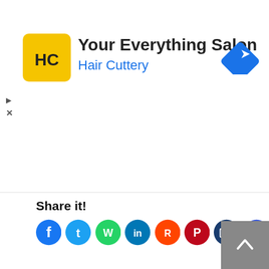[Figure (screenshot): Hair Cuttery ad banner with yellow logo icon showing 'HC', title 'Your Everything Salon', subtitle 'Hair Cuttery' in blue, and a blue navigation diamond icon on the right]
Email
Website
POST COMMENT
Share it!
[Figure (screenshot): Social media share icons row: Facebook (blue), Twitter (blue), WhatsApp (green), LinkedIn (blue), Reddit (orange-red), Pinterest (red), Email (dark blue), Share (blue)]